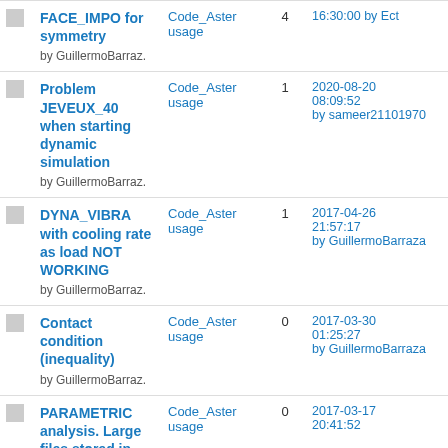|  | Topic | Category | Replies | Last Post |
| --- | --- | --- | --- | --- |
|  | FACE_IMPO for symmetry
by GuillermoBarraz. | Code_Aster usage | 4 | 2022-??-?? 16:30:00 by Ect |
|  | Problem JEVEUX_40 when starting dynamic simulation
by GuillermoBarraz. | Code_Aster usage | 1 | 2020-08-20 08:09:52 by sameer21101970 |
|  | DYNA_VIBRA with cooling rate as load NOT WORKING
by GuillermoBarraz. | Code_Aster usage | 1 | 2017-04-26 21:57:17 by GuillermoBarraza |
|  | Contact condition (inequality)
by GuillermoBarraz. | Code_Aster usage | 0 | 2017-03-30 01:25:27 by GuillermoBarraza |
|  | PARAMETRIC analysis. Large files stored in
by GuillermoBarraz. | Code_Aster usage | 0 | 2017-03-17 20:41:52 by GuillermoBarraza |